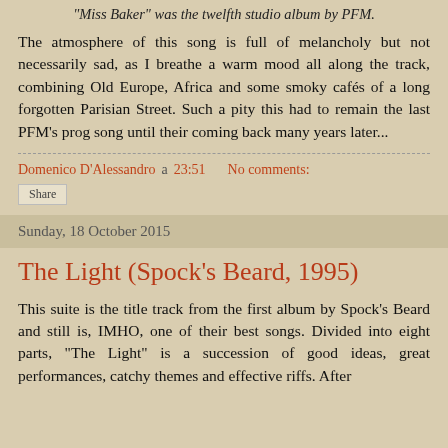"Miss Baker" was the twelfth studio album by PFM.
The atmosphere of this song is full of melancholy but not necessarily sad, as I breathe a warm mood all along the track, combining Old Europe, Africa and some smoky cafés of a long forgotten Parisian Street. Such a pity this had to remain the last PFM's prog song until their coming back many years later...
Domenico D'Alessandro a 23:51  No comments:
Share
Sunday, 18 October 2015
The Light (Spock's Beard, 1995)
This suite is the title track from the first album by Spock's Beard and still is, IMHO, one of their best songs. Divided into eight parts, "The Light" is a succession of good ideas, great performances, catchy themes and effective riffs. After